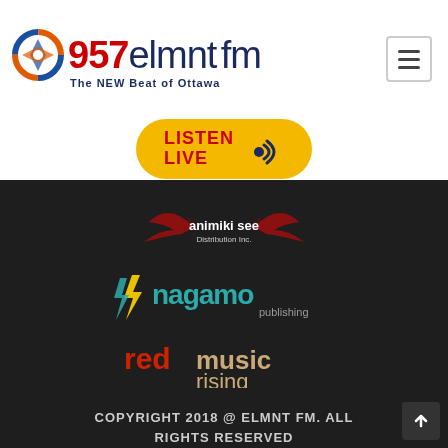[Figure (logo): 957 ELMNT FM radio station logo with 'The NEW Beat of Ottawa' tagline, and hamburger navigation menu button]
[Figure (logo): LISTEN LIVE button in yellow/gold rounded pill shape with red audio wave icon]
[Figure (logo): animiki see Distribution Inc. logo — dark red stylized wings with company name]
[Figure (logo): nagamo publishing logo — teal/yellow lightning bolt with teal and white text]
[Figure (logo): red music rising logo — red and tan/gold text]
COPYRIGHT 2018 @ ELMNT FM. ALL RIGHTS RESERVED
The new ELMNT Radio website is powered by snapd Inc.